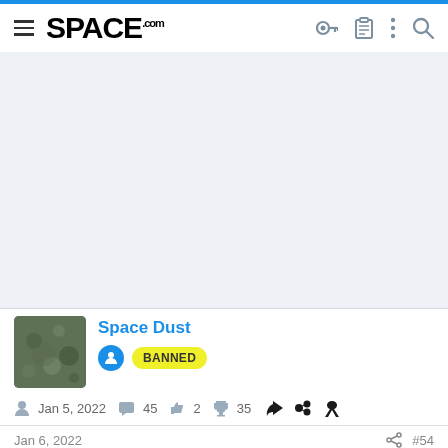SPACE.com
[Figure (other): Light gray advertisement/content placeholder area]
Space Dust
BANNED
Jan 5, 2022  45  2  35
Jan 6, 2022  #54